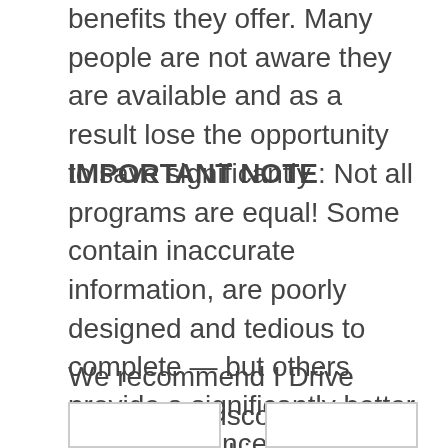benefits they offer. Many people are not aware they are available and as a result lose the opportunity to save significantly.
IMPORTANT NOTE: Not all programs are equal! Some contain inaccurate information, are poorly designed and tedious to complete — but others provide a significantly better user experience and added features such as audio and video.
We recommend I Drive Safely for Wisconsin as they provide high quality and easy to understand defensive driving courses which can be completed online – at a very reasonable price.